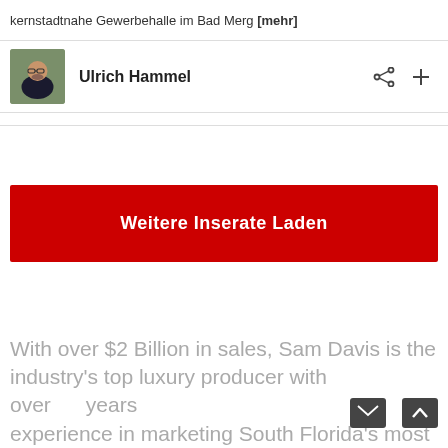kernstadtnahe Gewerbehalle im Bad Merg [mehr]
Ulrich Hammel
Weitere Inserate Laden
With over $2 Billion in sales, Sam Davis is the industry's top luxury producer with over   years experience in marketing South Florida's most